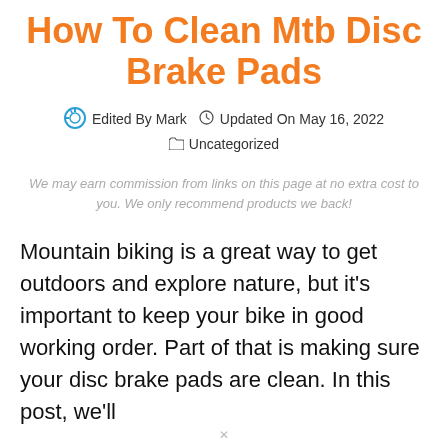How To Clean Mtb Disc Brake Pads
Edited By Mark   Updated On May 16, 2022   Uncategorized
We may earn commission from links on this page at no extra cost to you. We only recommend products we back!
Mountain biking is a great way to get outdoors and explore nature, but it's important to keep your bike in good working order. Part of that is making sure your disc brake pads are clean. In this post, we'll